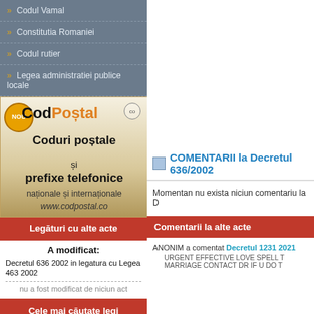» Codul Vamal
» Constitutia Romaniei
» Codul rutier
» Legea administratiei publice locale
[Figure (illustration): CodPostal.co advertisement banner showing postal codes and phone prefixes service]
Legături cu alte acte
A modificat:
Decretul 636 2002 in legatura cu Legea 463 2002
nu a fost modificat de niciun act
Cele mai căutate legi
COMENTARII la Decretul 636/2002
Momentan nu exista niciun comentariu la D
Comentarii la alte acte
ANONIM a comentat Decretul 1231 2021
URGENT EFFECTIVE LOVE SPELL T
MARRIAGE CONTACT DR if u do t